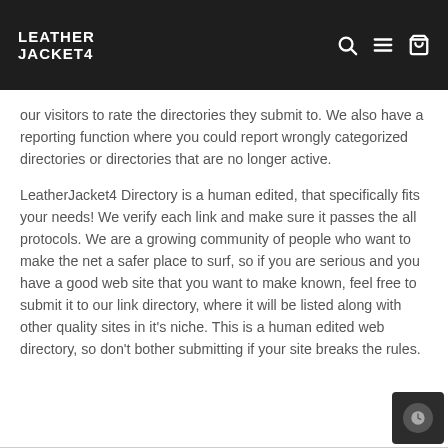LEATHER JACKET4
our visitors to rate the directories they submit to. We also have a reporting function where you could report wrongly categorized directories or directories that are no longer active.
LeatherJacket4 Directory is a human edited, that specifically fits your needs! We verify each link and make sure it passes the all protocols. We are a growing community of people who want to make the net a safer place to surf, so if you are serious and you have a good web site that you want to make known, feel free to submit it to our link directory, where it will be listed along with other quality sites in it's niche. This is a human edited web directory, so don't bother submitting if your site breaks the rules.